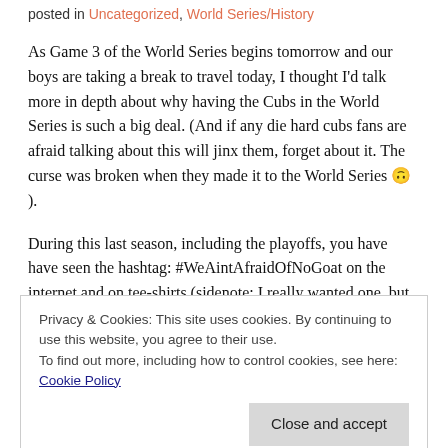posted in Uncategorized, World Series/History
As Game 3 of the World Series begins tomorrow and our boys are taking a break to travel today, I thought I'd talk more in depth about why having the Cubs in the World Series is such a big deal. (And if any die hard cubs fans are afraid talking about this will jinx them, forget about it. The curse was broken when they made it to the World Series 🙃 ).
During this last season, including the playoffs, you have have seen the hashtag: #WeAintAfraidOfNoGoat on the internet and on tee-shirts (sidenote: I really wanted one, but when I looked online and
Privacy & Cookies: This site uses cookies. By continuing to use this website, you agree to their use.
To find out more, including how to control cookies, see here: Cookie Policy
Field was having a "Take Your Pet to the Game" Day. I don't know if I